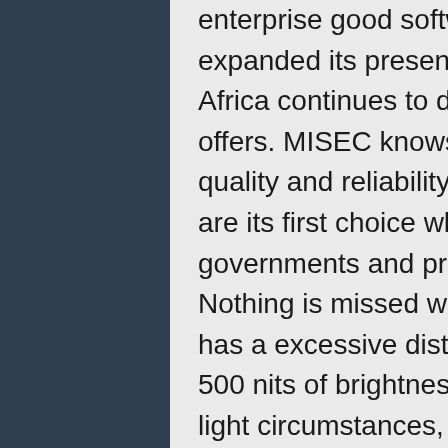enterprise good software. Since 2001, AG Neovo has expanded its presence within the African market and as Africa continues to develop, so do the options that AG Neovo offers. MISEC knows that it could possibly rely on the power, quality and reliability of AG Neovo shows, which is why they are its first choice when establishing security options for governments and private businesses throughout Africa. Nothing is missed with this reliable and sturdy resolution that has a excessive distinction, wide viewing angles and up to 500 nits of brightness. Even in premises with more varying light circumstances, the EcoSmart sensor https://moesport.com/?s=77up%20live detects ambient lighting to find a way to mechanically modify the brightness level and cut back power consumption.
He's never had a real job, never paid taxes, never been in a committed relationship. His longest relationships are with an old rescue dog that has post-traumatic stress and a childhood